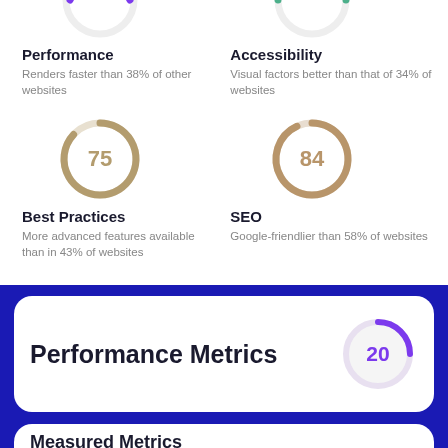[Figure (donut-chart): Circle gauge showing score, partial arc top section (cropped)]
Performance
Renders faster than 38% of other websites
[Figure (donut-chart): Circle gauge showing score ~92, teal arc, partial top section (cropped)]
Accessibility
Visual factors better than that of 34% of websites
[Figure (donut-chart): Best Practices]
Best Practices
More advanced features available than in 43% of websites
[Figure (donut-chart): SEO]
SEO
Google-friendlier than 58% of websites
Performance Metrics
[Figure (donut-chart): Performance Metrics Score]
Measured Metrics